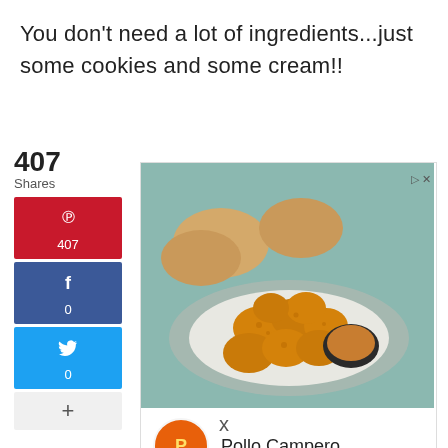You don't need a lot of ingredients...just some cookies and some cream!!
407 Shares
[Figure (screenshot): Social share sidebar with Pinterest (407), Facebook (0), Twitter (0), and a '+' more button]
[Figure (photo): Advertisement showing fried chicken nuggets on a plate with dipping sauce and bread rolls. Pollo Campero ad with brand icon, map thumbnail, location Herndon 10AM-10PM, and navigation arrow.]